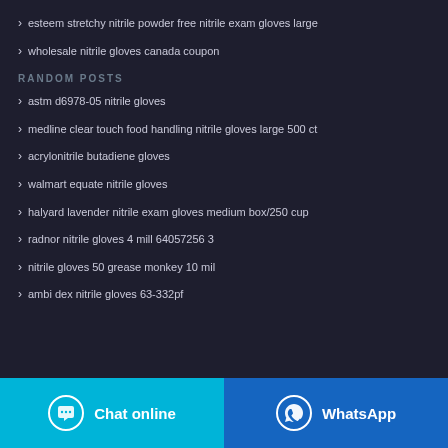esteem stretchy nitrile powder free nitrile exam gloves large
wholesale nitrile gloves canada coupon
RANDOM POSTS
astm d6978-05 nitrile gloves
medline clear touch food handling nitrile gloves large 500 ct
acrylonitrile butadiene gloves
walmart equate nitrile gloves
halyard lavender nitrile exam gloves medium box/250 cup
radnor nitrile gloves 4 mill 64057256 3
nitrile gloves 50 grease monkey 10 mil
ambi dex nitrile gloves 63-332pf
Chat online
WhatsApp